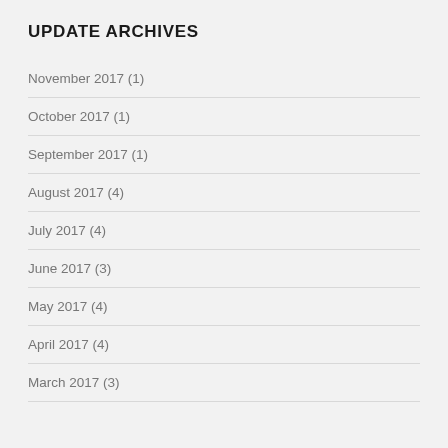UPDATE ARCHIVES
November 2017 (1)
October 2017 (1)
September 2017 (1)
August 2017 (4)
July 2017 (4)
June 2017 (3)
May 2017 (4)
April 2017 (4)
March 2017 (3)